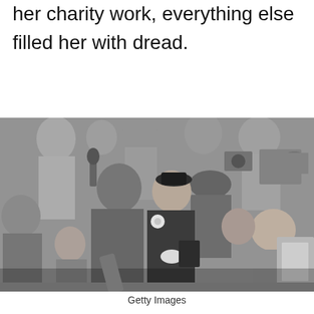her charity work, everything else filled her with dread.
[Figure (photo): Black and white photograph of a woman in a dark hat and coat surrounded by a crowd of people including photographers and a police officer, being helped toward a car.]
Getty Images